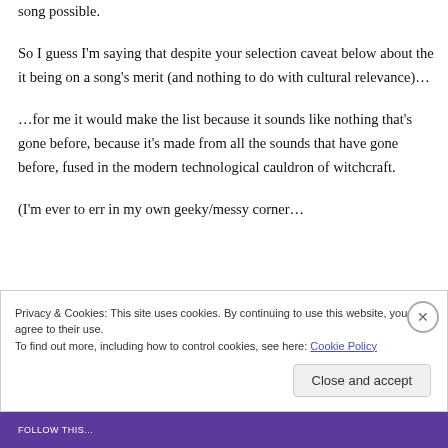song possible.
So I guess I'm saying that despite your selection caveat below about the it being on a song's merit (and nothing to do with cultural relevance)…
…for me it would make the list because it sounds like nothing that's gone before, because it's made from all the sounds that have gone before, fused in the modern technological cauldron of witchcraft.
(I'm ever to err in my own geeky/messy corner…
Privacy & Cookies: This site uses cookies. By continuing to use this website, you agree to their use.
To find out more, including how to control cookies, see here: Cookie Policy
Close and accept